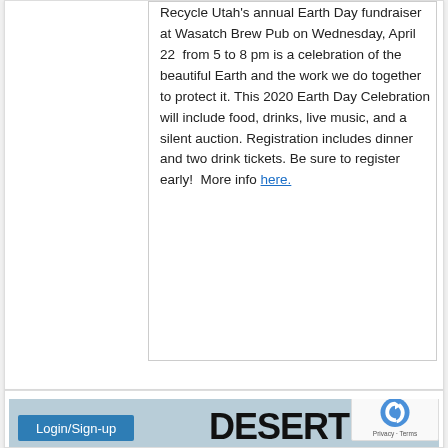Recycle Utah's annual Earth Day fundraiser at Wasatch Brew Pub on Wednesday, April 22 from 5 to 8 pm is a celebration of the beautiful Earth and the work we do together to protect it. This 2020 Earth Day Celebration will include food, drinks, live music, and a silent auction. Registration includes dinner and two drink tickets. Be sure to register early! More info here.
[Figure (screenshot): Bottom banner area showing a Login/Sign-up button on a blue background, large bold text reading DESERT ESCA (truncated), and a reCAPTCHA widget in the bottom right corner.]